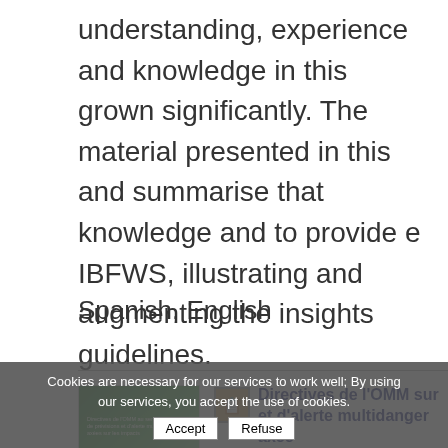understanding, experience and knowledge in this grown significantly. The material presented in this and summarise that knowledge and to provide e IBFWS, illustrating and augmenting the insights guidelines.
Spanish, English
[Figure (illustration): Book cover with green gradient design showing text about climate services and multi-hazard early warning]
Directives de l'OMM sur et d'alerte multidanger axée Nº 1150): Partie II: Mise en précision et d'alerte mu impa
Cookies are necessary for our services to work well; By using our services, you accept the use of cookies.